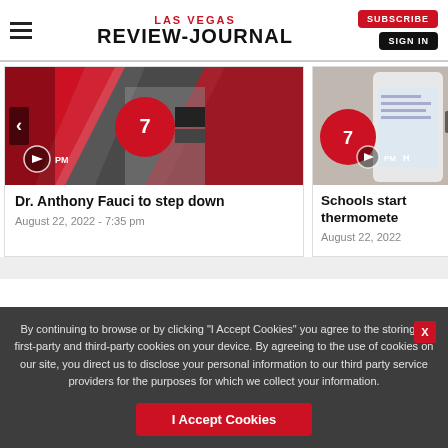LAS VEGAS REVIEW-JOURNAL
[Figure (screenshot): Video thumbnail for Dr. Anthony Fauci to step down article, showing red and white geometric design with a person in background]
Dr. Anthony Fauci to step down
August 22, 2022 - 7:35 pm
[Figure (screenshot): Video thumbnail for Schools start thermometer article, showing phone and red circular design]
Schools start thermome...
August 22, 2022
By continuing to browse or by clicking “I Accept Cookies” you agree to the storing of first-party and third-party cookies on your device. By agreeing to the use of cookies on our site, you direct us to disclose your personal information to our third party service providers for the purposes for which we collect your information.
I Accept Cookies